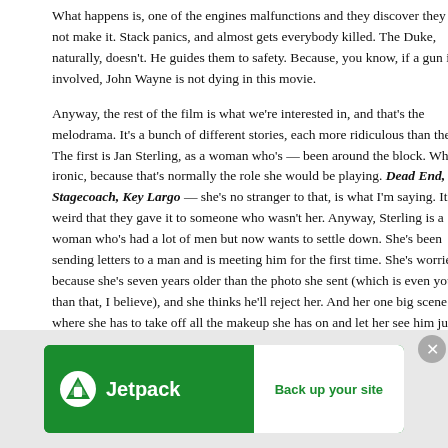What happens is, one of the engines malfunctions and they discover they might not make it. Stack panics, and almost gets everybody killed. The Duke, naturally, doesn't. He guides them to safety. Because, you know, if a gun is not involved, John Wayne is not dying in this movie.
Anyway, the rest of the film is what we're interested in, and that's the melodrama. It's a bunch of different stories, each more ridiculous than the next. The first is Jan Sterling, as a woman who's — been around the block. Which is ironic, because that's normally the role she would be playing. Dead End, Stagecoach, Key Largo — she's no stranger to that, is what I'm saying. It's weird that they gave it to someone who wasn't her. Anyway, Sterling is a woman who's had a lot of men but now wants to settle down. She's been sending letters to a man and is meeting him for the first time. She's worried, because she's seven years older than the photo she sent (which is even younger than that, I believe), and she thinks he'll reject her. And her one big scene is where she has to take off all the makeup she has on and let her see him just as she is.
And of course it ends happily, you know, after they all don't die. For some reason, the response the dude has is the most hysterical thing. Like, she says she was worried she'd be too old, and he says like, "My ex-wife was 70" or something like, "Oh no, I loved my mother," or something like that weird fucked up Freudian thing. Maybe I'm wrong, but, whatever.
Anyway, she does okay, but — no one should ever be nominated for these movies.
[Figure (infographic): Jetpack advertisement banner with green background, Jetpack logo and icon on left, white 'Back up your site' button on right]